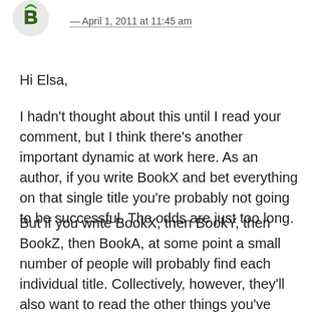[Figure (illustration): Small avatar/logo icon with green and black design, top left corner]
April 1, 2011 at 11:45 am
Hi Elsa,
I hadn't thought about this until I read your comment, but I think there's another important dynamic at work here. As an author, if you write BookX and bet everything on that single title you're probably not going to be successful. The odds are just too long.
But if you write BookX, then BookY, then BookZ, then BookA, at some point a small number of people will probably find each individual title. Collectively, however, they'll also want to read the other things you've written — provided that your writing in the